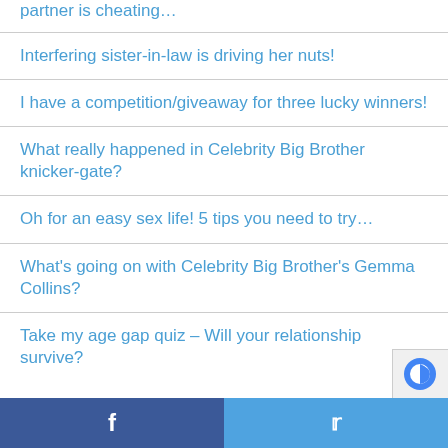partner is cheating…
Interfering sister-in-law is driving her nuts!
I have a competition/giveaway for three lucky winners!
What really happened in Celebrity Big Brother knicker-gate?
Oh for an easy sex life! 5 tips you need to try…
What's going on with Celebrity Big Brother's Gemma Collins?
Take my age gap quiz – Will your relationship survive?